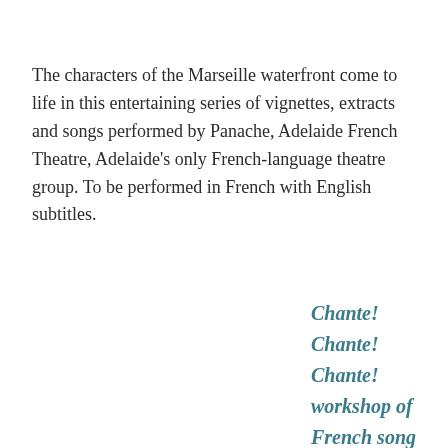The characters of the Marseille waterfront come to life in this entertaining series of vignettes, extracts and songs performed by Panache, Adelaide French Theatre, Adelaide's only French-language theatre group. To be performed in French with English subtitles.
Chante!
Chante!
Chante!
workshop of
French song
of the 20th